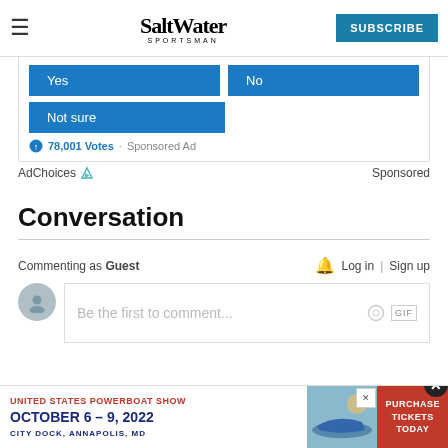Salt Water Sportsman — SUBSCRIBE
[Figure (screenshot): Poll widget with Yes, No, Not sure buttons and 78,001 Votes — Sponsored Ad]
AdChoices  Sponsored
Conversation
Commenting as Guest    Log in | Sign up
Be the first to comment...
[Figure (screenshot): United States Powerboat Show — October 6–9, 2022 — City Dock, Annapolis, MD — Purchase Tickets Today banner ad]